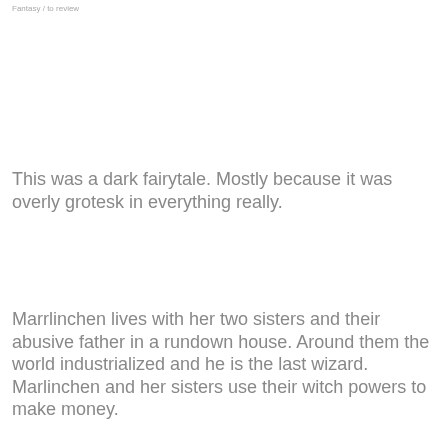Fantasy / to review
This was a dark fairytale. Mostly because it was overly grotesk in everything really.
Marrlinchen lives with her two sisters and their abusive father in a rundown house. Around them the world industrialized and he is the last wizard. Marlinchen and her sisters use their witch powers to make money.